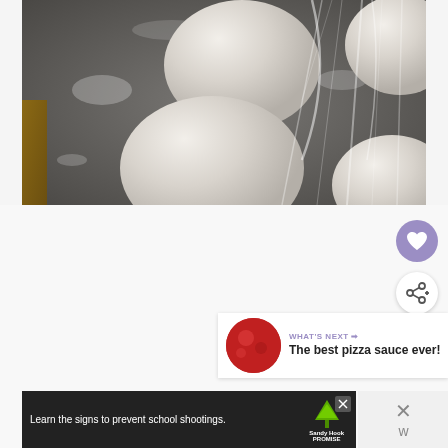[Figure (photo): Photo of pizza dough balls resting on a floured dark baking sheet, covered with plastic wrap, viewed from an angle]
[Figure (screenshot): UI overlay with heart (save) button in purple circle, share button in white circle, and 'What's Next' panel showing pizza sauce thumbnail and text 'The best pizza sauce ever!']
[Figure (screenshot): Advertisement banner at bottom: 'Learn the signs to prevent school shootings.' with Sandy Hook Promise logo. Close button and additional controls to the right.]